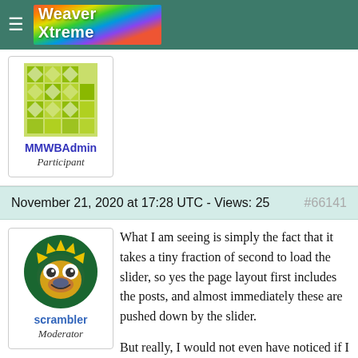Weaver Xtreme
[Figure (logo): MMWBAdmin user avatar with green/yellow quilt pattern]
MMWBAdmin
Participant
November 21, 2020 at 17:28 UTC - Views: 25   #66141
[Figure (photo): scrambler user avatar: cartoon frog/bug character with yellow, green, blue colors on circular avatar]
scrambler
Moderator
What I am seeing is simply the fact that it takes a tiny fraction of second to load the slider, so yes the page layout first includes the posts, and almost immediately these are pushed down by the slider.
But really, I would not even have noticed if I had not know that was